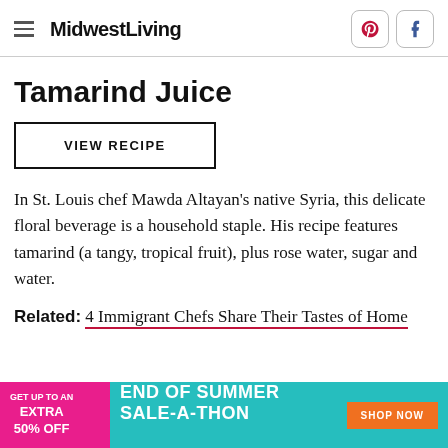MidwestLiving
Tamarind Juice
VIEW RECIPE
In St. Louis chef Mawda Altayan's native Syria, this delicate floral beverage is a household staple. His recipe features tamarind (a tangy, tropical fruit), plus rose water, sugar and water.
Related: 4 Immigrant Chefs Share Their Tastes of Home
[Figure (other): Advertisement banner: GET UP TO AN EXTRA 50% OFF - END OF SUMMER SALE-A-THON - SHOP NOW]